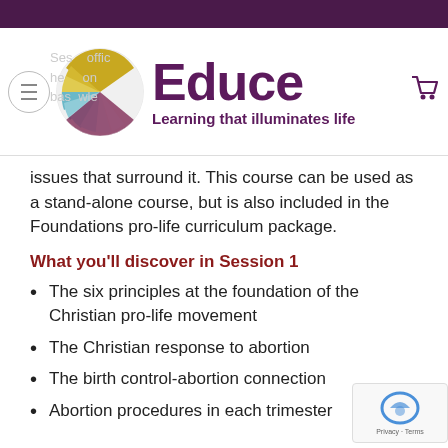Educe — Learning that illuminates life
issues that surround it. This course can be used as a stand-alone course, but is also included in the Foundations pro-life curriculum package.
What you'll discover in Session 1
The six principles at the foundation of the Christian pro-life movement
The Christian response to abortion
The birth control-abortion connection
Abortion procedures in each trimester